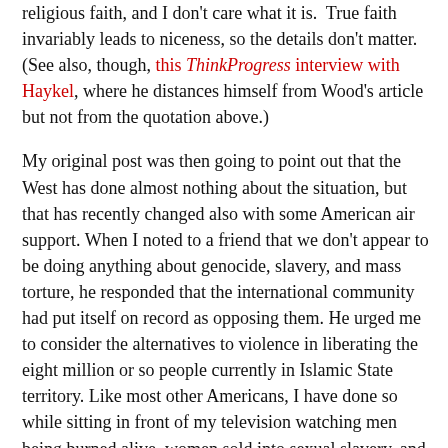religious faith, and I don't care what it is. True faith invariably leads to niceness, so the details don't matter. (See also, though, this ThinkProgress interview with Haykel, where he distances himself from Wood's article but not from the quotation above.)
My original post was then going to point out that the West has done almost nothing about the situation, but that has recently changed also with some American air support. When I noted to a friend that we don't appear to be doing anything about genocide, slavery, and mass torture, he responded that the international community had put itself on record as opposing them. He urged me to consider the alternatives to violence in liberating the eight million or so people currently in Islamic State territory. Like most other Americans, I have done so while sitting in front of my television watching men being burned alive, women sold into sexual slavery, and children forced to become soldiers and suicide bombers.
Westerners cannot use reason to talk “the Caliph” and his followers out of conducting jihad. It is a core religious belief. Americans who argue for religious exemptions to laws of general application should especially understand that. Besides, the Salafists believe that reason can never be substituted for